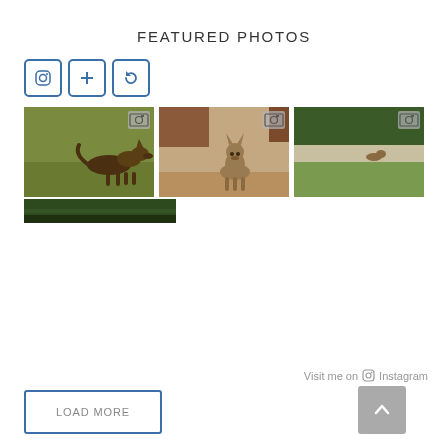FEATURED PHOTOS
[Figure (other): Three icon buttons: Instagram icon, plus icon, and a refresh/rotate icon in blue border squares]
[Figure (photo): Photo 1: A jackal or fox-like animal standing on green grass in daylight]
[Figure (photo): Photo 2: A jackal or fox-like animal standing on sandy ground, facing camera]
[Figure (photo): Photo 3: A distant animal in green grassy landscape near water]
[Figure (photo): Bottom strip image: dark green water/vegetation scene]
Visit me on Instagram
LOAD MORE